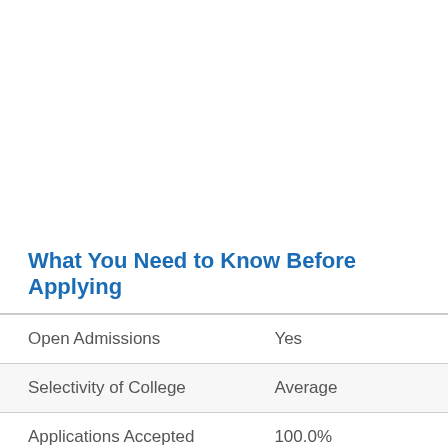What You Need to Know Before Applying
| Open Admissions | Yes |
| Selectivity of College | Average |
| Applications Accepted | 100.0% |